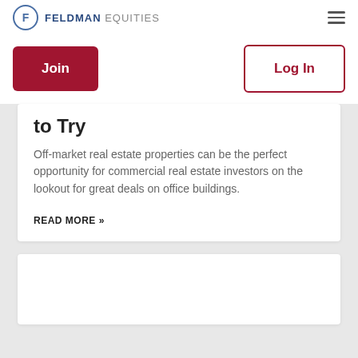FELDMAN EQUITIES
Join
Log In
to Try
Off-market real estate properties can be the perfect opportunity for commercial real estate investors on the lookout for great deals on office buildings.
READ MORE »